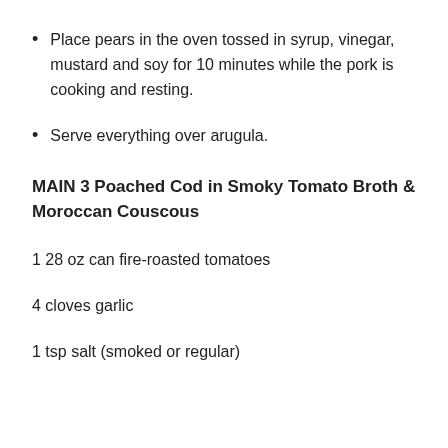Place pears in the oven tossed in syrup, vinegar, mustard and soy for 10 minutes while the pork is cooking and resting.
Serve everything over arugula.
MAIN 3 Poached Cod in Smoky Tomato Broth & Moroccan Couscous
1 28 oz can fire-roasted tomatoes
4 cloves garlic
1 tsp salt (smoked or regular)